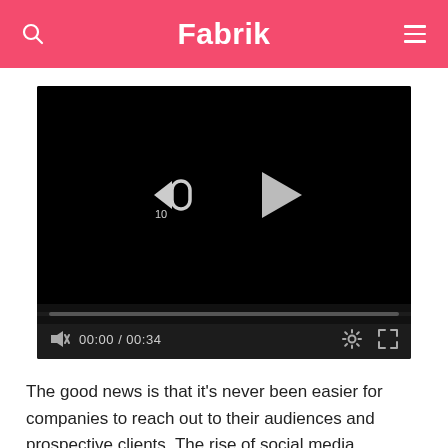Fabrik
[Figure (screenshot): Video player showing a black screen with rewind 10 seconds and play button controls, a progress bar, and bottom controls showing muted audio, time 00:00 / 00:34, settings gear icon, and fullscreen icon.]
The good news is that it's never been easier for companies to reach out to their audiences and prospective clients. The rise of social media, combined with the ever-present popularity of content marketing ensures that brands have countless ways to speak to their customers.